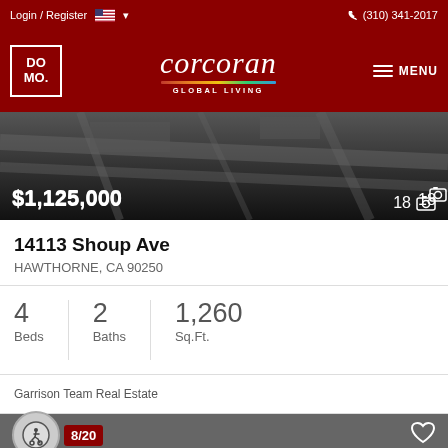Login / Register   (310) 341-2017
[Figure (logo): DOMO Corcoran Global Living logo with navigation menu button]
[Figure (photo): Dark aerial map photo of property area with price $1,125,000 overlaid at bottom left and photo count 18 at bottom right]
14113 Shoup Ave
HAWTHORNE, CA 90250
4 Beds   2 Baths   1,260 Sq.Ft.
Garrison Team Real Estate
8/20